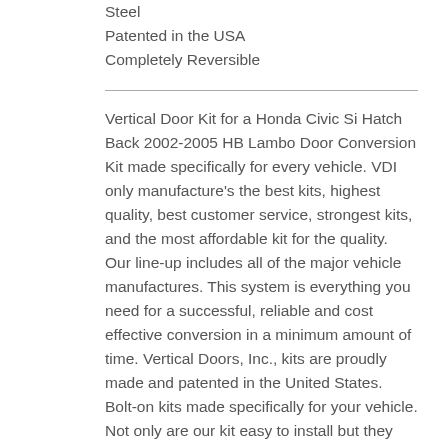Steel
Patented in the USA
Completely Reversible
Vertical Door Kit for a Honda Civic Si Hatch Back 2002-2005 HB Lambo Door Conversion Kit made specifically for every vehicle. VDI only manufacture's the best kits, highest quality, best customer service, strongest kits, and the most affordable kit for the quality. Our line-up includes all of the major vehicle manufactures. This system is everything you need for a successful, reliable and cost effective conversion in a minimum amount of time. Vertical Doors, Inc., kits are proudly made and patented in the United States. Bolt-on kits made specifically for your vehicle. Not only are our kit easy to install but they are also easy to operate, basically open your door like normal